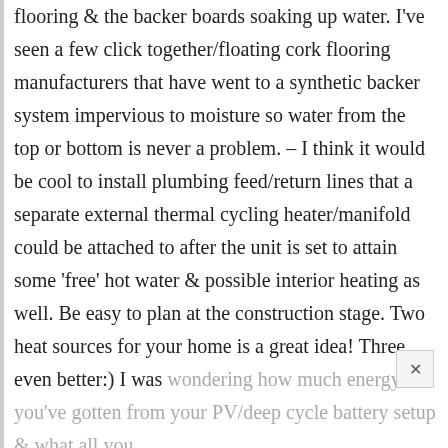flooring & the backer boards soaking up water. I've seen a few click together/floating cork flooring manufacturers that have went to a synthetic backer system impervious to moisture so water from the top or bottom is never a problem. – I think it would be cool to install plumbing feed/return lines that a separate external thermal cycling heater/manifold could be attached to after the unit is set to attain some 'free' hot water & possible interior heating as well. Be easy to plan at the construction stage. Two heat sources for your home is a great idea! Three even better:) I was wondering how much energy you've gotten from your PV/deep cycle battery setup & what all you